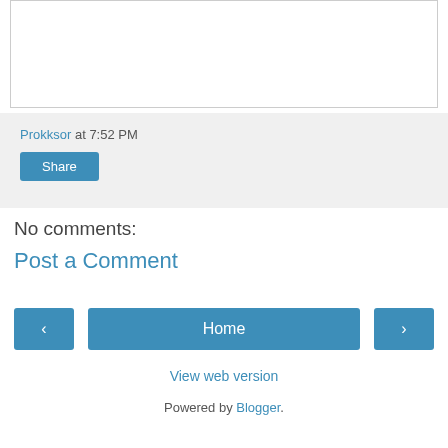[Figure (other): Empty white content box with border at top of page]
Prokksor at 7:52 PM
Share
No comments:
Post a Comment
Home | View web version | Powered by Blogger.